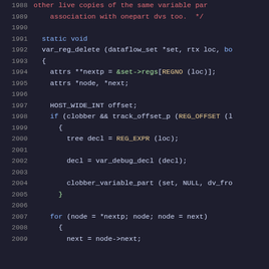[Figure (screenshot): Source code listing in a dark-themed code editor showing C code for var_reg_delete function, lines 1988-2009]